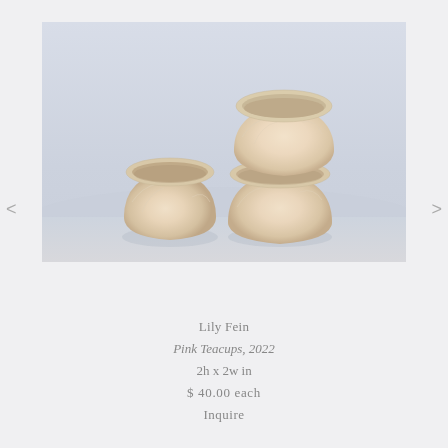[Figure (photo): Three small ceramic teacups in a pale peachy-beige glaze arranged together against a light grey-blue background. One cup sits to the left and two cups are stacked on the right.]
Lily Fein
Pink Teacups, 2022
2h x 2w in
$ 40.00 each
Inquire